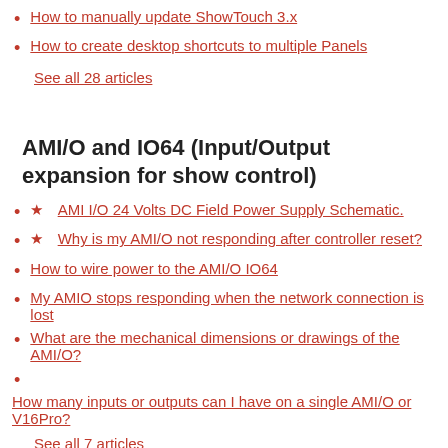How to manually update ShowTouch 3.x
How to create desktop shortcuts to multiple Panels
See all 28 articles
AMI/O and IO64 (Input/Output expansion for show control)
★  AMI I/O 24 Volts DC Field Power Supply Schematic.
★  Why is my AMI/O not responding after controller reset?
How to wire power to the AMI/O IO64
My AMIO stops responding when the network connection is lost
What are the mechanical dimensions or drawings of the AMI/O?
How many inputs or outputs can I have on a single AMI/O or V16Pro?
See all 7 articles